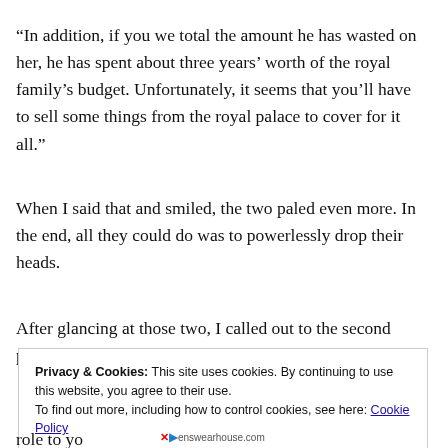“In addition, if you we total the amount he has wasted on her, he has spent about three years’ worth of the royal family’s budget. Unfortunately, it seems that you’ll have to sell some things from the royal palace to cover for it all.”
When I said that and smiled, the two paled even more. In the end, all they could do was to powerlessly drop their heads.
After glancing at those two, I called out to the second prince.
Privacy & Cookies: This site uses cookies. By continuing to use this website, you agree to their use. To find out more, including how to control cookies, see here: Cookie Policy
role to yo